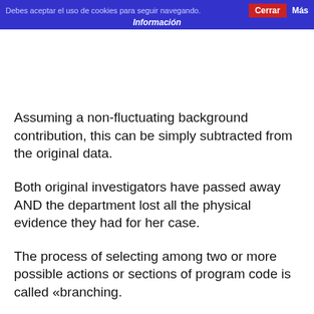Debes aceptar el uso de cookies para seguir navegando.  Cerrar  Más
Información
Far roomier than similar vehicles, this 4WD campervan is ideal for thrill seeking couples keen to hop on the road less travelled.
Assuming a non-fluctuating background contribution, this can be simply subtracted from the original data.
Both original investigators have passed away AND the department lost all the physical evidence they had for her case.
The process of selecting among two or more possible actions or sections of program code is called «branching.
Bustmaxx is made using all-natural ingredients, which means that it is safe to use and there are no harmful chemicals that are going into your body.